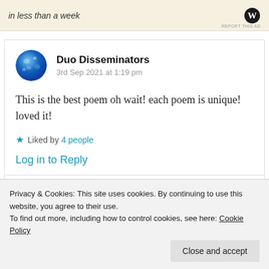[Figure (other): Ad banner with italic text 'in less than a week' and WordPress logo, with 'REPORT THIS AD' link]
Duo Disseminators
3rd Sep 2021 at 1:19 pm

This is the best poem oh wait! each poem is unique! loved it!

★ Liked by 4 people

Log in to Reply
Privacy & Cookies: This site uses cookies. By continuing to use this website, you agree to their use.
To find out more, including how to control cookies, see here: Cookie Policy
Close and accept
3rd Sep 2021 at 10:31 pm